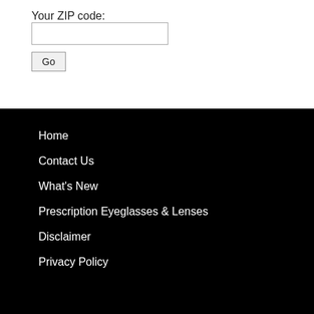Your ZIP code:
Home
Contact Us
What's New
Prescription Eyeglasses & Lenses
Disclaimer
Privacy Policy